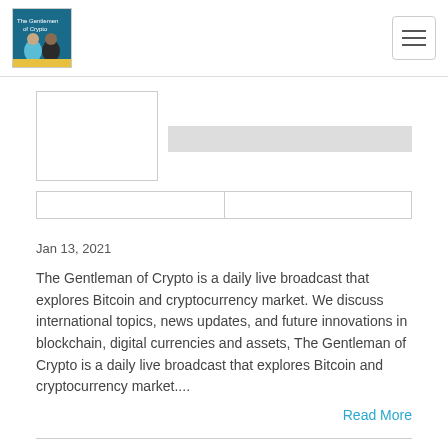The Gentleman of Crypto [logo] [hamburger menu]
[Figure (other): Skeleton loading placeholder with image box and gray title bar, plus two button placeholders below]
Jan 13, 2021
The Gentleman of Crypto is a daily live broadcast that explores Bitcoin and cryptocurrency market. We discuss international topics, news updates, and future innovations in blockchain, digital currencies and assets, The Gentleman of Crypto is a daily live broadcast that explores Bitcoin and cryptocurrency market....
Read More
Bitcoin New All Time High $42K | TGoC